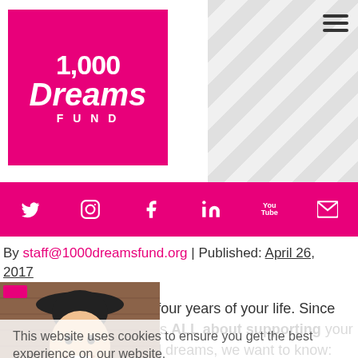[Figure (logo): 1,000 Dreams Fund logo — pink/magenta square with white text: '1,000 Dreams FUND']
[Figure (infographic): Pink navigation bar with social media icons: Twitter, Instagram, Facebook, LinkedIn, YouTube, Email]
By staff@1000dreamsfund.org | Published: April 26, 2017
[Figure (photo): Book/podcast cover image: 'My College DREAM as told by you' with a smiling young woman wearing a black hat]
College can be the best four years of your life. Since the 1,000 Dreams Fund is ALL about supporting your exciting career goals and dreams, we want to know: What is your big dream for yourself in college? Maybe
This website uses cookies to ensure you get the best experience on our website.
Learn more
Got it!